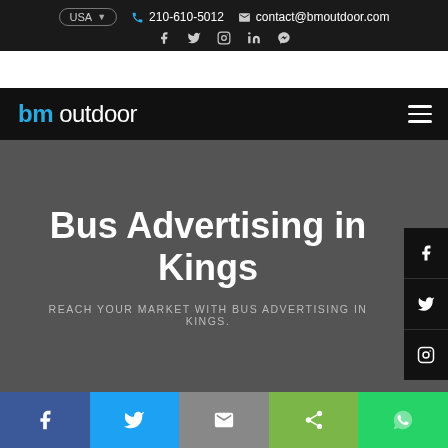USA  210-610-5012  contact@bmoutdoor.com
bm outdoor
Bus Advertising in Kings
REACH YOUR MARKET WITH BUS ADVERTISING IN KINGS.
Facebook | Twitter | Email | Share | WhatsApp